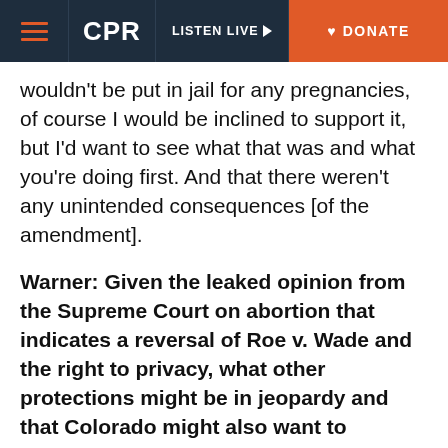CPR   LISTEN LIVE   DONATE
wouldn't be put in jail for any pregnancies, of course I would be inclined to support it, but I'd want to see what that was and what you're doing first. And that there weren't any unintended consequences [of the amendment].
Warner: Given the leaked opinion from the Supreme Court on abortion that indicates a reversal of Roe v. Wade and the right to privacy, what other protections might be in jeopardy and that Colorado might also want to enshrine?
Polis: Well, look, I'm always for freedom and for people's ability to make their own decisions, so I don't see any downside to protecting contraception and...